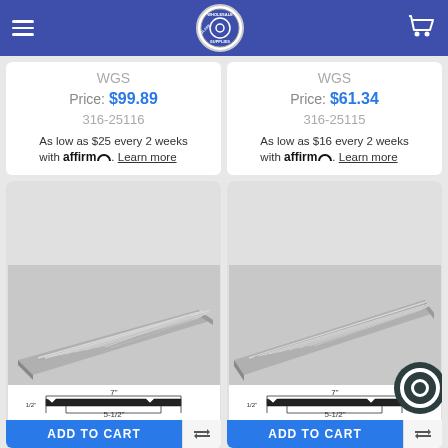Wholesale Glass Supplies navigation bar
WGS
Price: $99.89
316-25116
As low as $25 every 2 weeks with affirm. Learn more
WGS
Price: $61.34
316-25115
As low as $16 every 2 weeks with affirm. Learn more
[Figure (photo): Silver aluminum threshold/transition strip with ribbed surface and cross-section diagram showing 7" width, 5-1/2" base, 1/2" height. ADD TO CART button below.]
[Figure (photo): Silver aluminum threshold/transition strip with ribbed surface and cross-section diagram showing 7" width, 5-1/2" base, 1/2" height. ADD TO CART button below.]